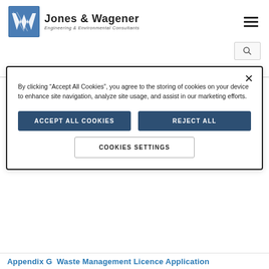[Figure (logo): Jones & Wagener Engineering & Environmental Consultants logo with stylized W icon in blue]
Appendix E.5  Public Review of Consultation Documents – Notification Emails
By clicking "Accept All Cookies", you agree to the storing of cookies on your device to enhance site navigation, analyze site usage, and assist in our marketing efforts.
Accept All Cookies
Reject All
Cookies Settings
Appendix G  Waste Management Licence Application